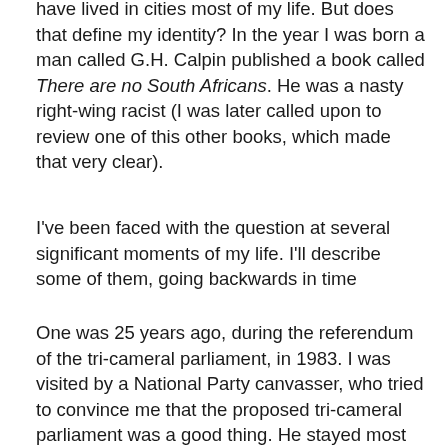have lived in cities most of my life. But does that define my identity? In the year I was born a man called G.H. Calpin published a book called There are no South Africans. He was a nasty right-wing racist (I was later called upon to review one of this other books, which made that very clear).
I've been faced with the question at several significant moments of my life. I'll describe some of them, going backwards in time
One was 25 years ago, during the referendum of the tri-cameral parliament, in 1983. I was visited by a National Party canvasser, who tried to convince me that the proposed tri-cameral parliament was a good thing. He stayed most of the afternoon. My objections were different from most of those he encountered, and it took most of the